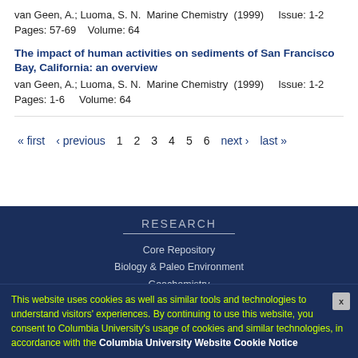van Geen, A.; Luoma, S. N.  Marine Chemistry  (1999)    Issue: 1-2  Pages: 57-69    Volume: 64
The impact of human activities on sediments of San Francisco Bay, California: an overview
van Geen, A.; Luoma, S. N.  Marine Chemistry  (1999)    Issue: 1-2  Pages: 1-6    Volume: 64
« first  ‹ previous  1  2  3  4  5  6  next ›  last »
RESEARCH
Core Repository
Biology & Paleo Environment
Geochemistry
Marine Geology & Geophysics
Ocean & Climate Physics
Office of Marine Operations
Seismology, Geology, & Tectonophysics
This website uses cookies as well as similar tools and technologies to understand visitors' experiences. By continuing to use this website, you consent to Columbia University's usage of cookies and similar technologies, in accordance with the Columbia University Website Cookie Notice